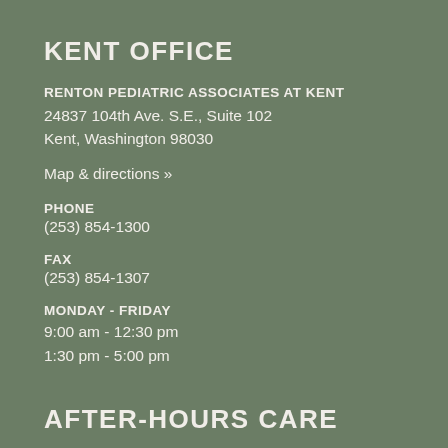KENT OFFICE
RENTON PEDIATRIC ASSOCIATES AT KENT
24837 104th Ave. S.E., Suite 102
Kent, Washington 98030
Map & directions »
PHONE
(253) 854-1300
FAX
(253) 854-1307
MONDAY - FRIDAY
9:00 am - 12:30 pm
1:30 pm - 5:00 pm
AFTER-HOURS CARE
If your child's illness or injury is life threatening, call